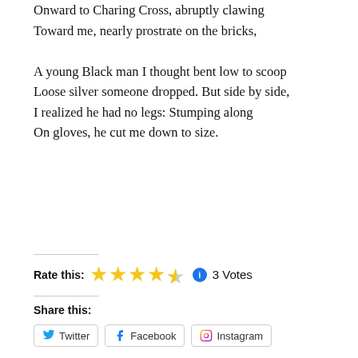Onward to Charing Cross, abruptly clawing
Toward me, nearly prostrate on the bricks,

A young Black man I thought bent low to scoop
Loose silver someone dropped. But side by side,
I realized he had no legs: Stumping along
On gloves, he cut me down to size.
Rate this: ★★★★½  3 Votes
Share this:
Twitter   Facebook   Instagram